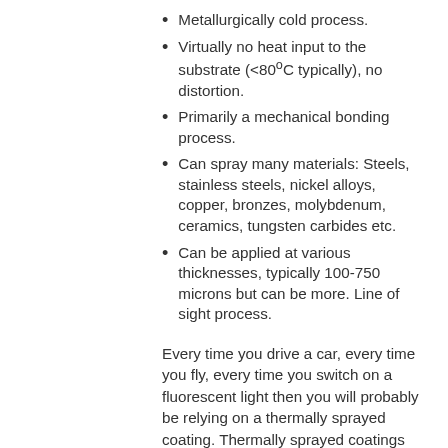Metallurgically cold process.
Virtually no heat input to the substrate (<80°C typically), no distortion.
Primarily a mechanical bonding process.
Can spray many materials: Steels, stainless steels, nickel alloys, copper, bronzes, molybdenum, ceramics, tungsten carbides etc.
Can be applied at various thicknesses, typically 100-750 microns but can be more. Line of sight process.
Every time you drive a car, every time you fly, every time you switch on a fluorescent light then you will probably be relying on a thermally sprayed coating. Thermally sprayed coatings are used right across the spectrum of engineering and manufacturing to enhance the surface of components made from low cost or light weight materials. This allows the designer to create cost effective, high performance parts with a functional surface exactly where it is required.
Metals and ceramics can now be applied